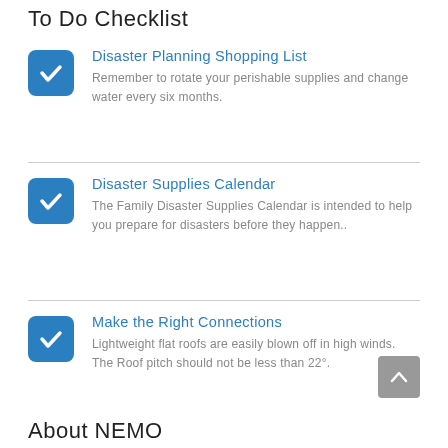To Do Checklist
Disaster Planning Shopping List — Remember to rotate your perishable supplies and change water every six months.
Disaster Supplies Calendar — The Family Disaster Supplies Calendar is intended to help you prepare for disasters before they happen..
Make the Right Connections — Lightweight flat roofs are easily blown off in high winds. The Roof pitch should not be less than 22°.
About NEMO